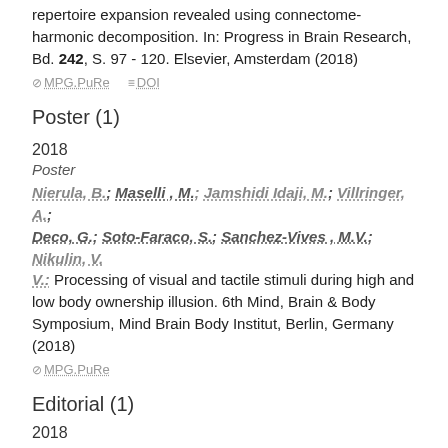repertoire expansion revealed using connectome-harmonic decomposition. In: Progress in Brain Research, Bd. 242, S. 97 - 120. Elsevier, Amsterdam (2018)
MPG.PuRe   DOI
Poster (1)
2018
Poster
Nierula, B.; Maselli , M.; Jamshidi Idaji, M.; Villringer, A.; Deco, G.; Soto-Faraco, S.; Sanchez-Vives , M.V.; Nikulin, V. V.: Processing of visual and tactile stimuli during high and low body ownership illusion. 6th Mind, Brain & Body Symposium, Mind Brain Body Institut, Berlin, Germany (2018)
MPG.PuRe
Editorial (1)
2018